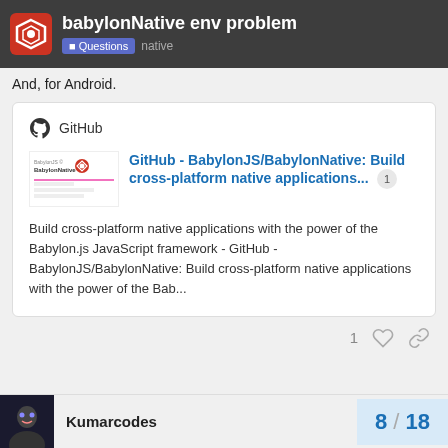babylonNative env problem | Questions native
And, for Android.
[Figure (screenshot): GitHub card embed showing BabylonJS/BabylonNative repository link with thumbnail, title 'GitHub - BabylonJS/BabylonNative: Build cross-platform native applications...' and description text.]
Build cross-platform native applications with the power of the Babylon.js JavaScript framework - GitHub - BabylonJS/BabylonNative: Build cross-platform native applications with the power of the Bab...
1
Kumarcodes  8 / 18